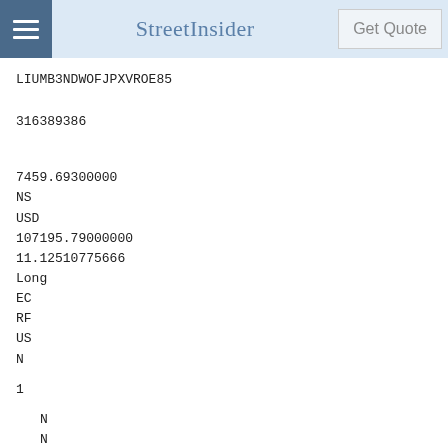StreetInsider | Get Quote
LIUMB3NDWOFJPXVROE85
316389386
7459.69300000
NS
USD
107195.79000000
11.12510775666
Long
EC
RF
US
N
1
N
N
N